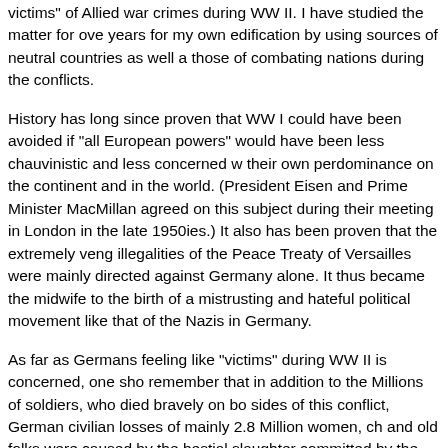victims" of Allied war crimes during WW II. I have studied the matter for over years for my own edification by using sources of neutral countries as well as those of combating nations during the conflicts.
History has long since proven that WW I could have been avoided if "all European powers" would have been less chauvinistic and less concerned with their own perdominance on the continent and in the world. (President Eisenhower and Prime Minister MacMillan agreed on this subject during their meeting in London in the late 1950ies.) It also has been proven that the extremely vengeful illegalities of the Peace Treaty of Versailles were mainly directed against Germany alone. It thus became the midwife to the birth of a mistrusting and hateful political movement like that of the Nazis in Germany.
As far as Germans feeling like "victims" during WW II is concerned, one should remember that in addition to the Millions of soldiers, who died bravely on both sides of this conflict, German civilian losses of mainly 2.8 Million women, children and old folks were caused by the bestial slaughter committed by the Red Army and Communist Polish Militia. Twelve additional Millions were driven off their ancient homeland with not much more but the cloths on the backs. It amounts the largest expulsion of peoples in human history. Furthermore, Allied carpet bombing resulted in the death of approximately 700,000 German civilians. (A number which by comparison dwarfs any losses that may have resulted from the infamous London "Blitz".)None of these crimes against humanity were ever adjudicated before an international court of justice like the one who justifiably